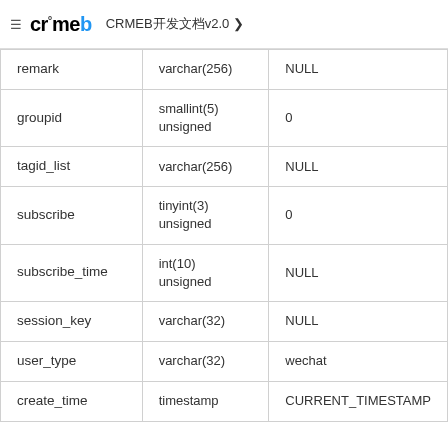CRMEB v2.0
| Column | Type | Default |
| --- | --- | --- |
| remark | varchar(256) | NULL |
| groupid | smallint(5) unsigned | 0 |
| tagid_list | varchar(256) | NULL |
| subscribe | tinyint(3) unsigned | 0 |
| subscribe_time | int(10) unsigned | NULL |
| session_key | varchar(32) | NULL |
| user_type | varchar(32) | wechat |
| create_time | timestamp | CURRENT_TIMESTAMP |